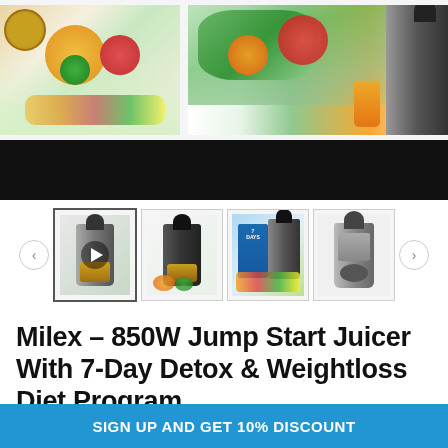[Figure (photo): Product hero image showing fruits, vegetables, and juicer appliance with black video bar below]
[Figure (photo): Thumbnail gallery row with 4 product thumbnails and navigation arrows. First thumbnail selected showing juicer video, second juicer photo, third 7-day detox book with juicer, fourth black juicer model.]
Milex – 850W Jump Start Juicer With 7-Day Detox & Weightloss Diet Program
★★★★☆ 1 review
SIGN UP AND GET 10% DISCOUNT